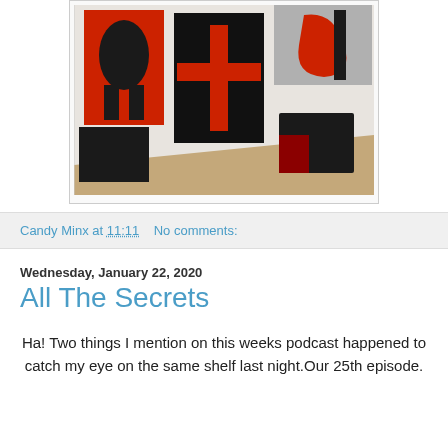[Figure (photo): Art gallery interior showing several large abstract paintings with red and black color schemes mounted on white walls. A red cross on black background is prominent in the center.]
Candy Minx at 11:11    No comments:
Wednesday, January 22, 2020
All The Secrets
Ha! Two things I mention on this weeks podcast happened to catch my eye on the same shelf last night.Our 25th episode.